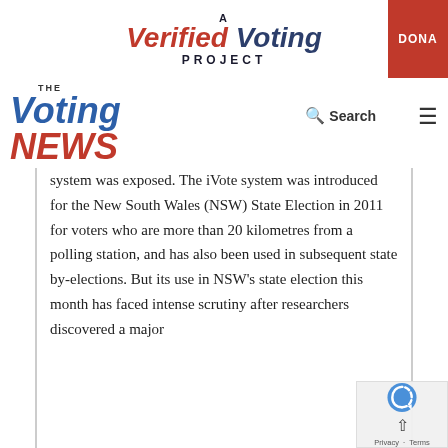[Figure (logo): A Verified Voting Project logo with red and navy italic text, and a red DONATE button on the right]
[Figure (logo): The Voting News logo with blue italic 'Voting' and red italic 'NEWS', with Search and hamburger menu icons]
system was exposed. The iVote system was introduced for the New South Wales (NSW) State Election in 2011 for voters who are more than 20 kilometres from a polling station, and has also been used in subsequent state by-elections. But its use in NSW's state election this month has faced intense scrutiny after researchers discovered a major